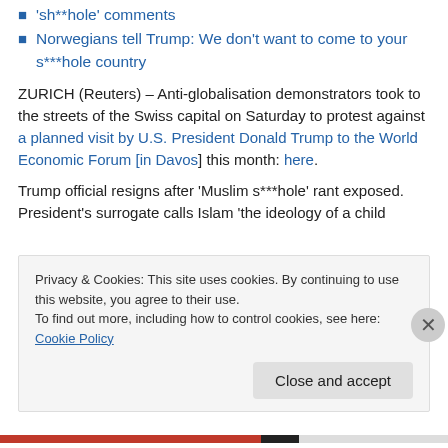African Union demands Donald Trump apologise for 'sh**hole' comments
Norwegians tell Trump: We don't want to come to your s***hole country
ZURICH (Reuters) – Anti-globalisation demonstrators took to the streets of the Swiss capital on Saturday to protest against a planned visit by U.S. President Donald Trump to the World Economic Forum [in Davos] this month: here.
Trump official resigns after 'Muslim s***hole' rant exposed. President's surrogate calls Islam 'the ideology of a child
Privacy & Cookies: This site uses cookies. By continuing to use this website, you agree to their use.
To find out more, including how to control cookies, see here: Cookie Policy
Close and accept